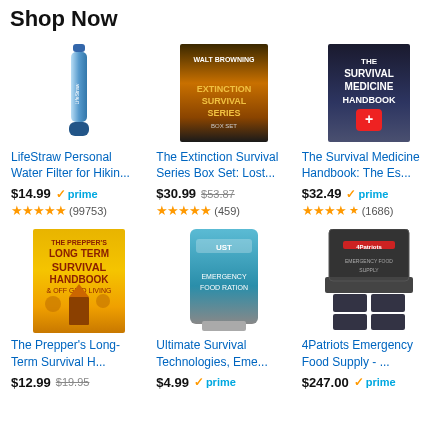Shop Now
[Figure (photo): LifeStraw Personal Water Filter product image]
LifeStraw Personal Water Filter for Hikin...
$14.99 prime
★★★★★ (99753)
[Figure (photo): The Extinction Survival Series Box Set book cover]
The Extinction Survival Series Box Set: Lost...
$30.99  $53.87
★★★★★ (459)
[Figure (photo): The Survival Medicine Handbook book cover]
The Survival Medicine Handbook: The Es...
$32.49 prime
★★★★★ (1686)
[Figure (photo): The Prepper's Long Term Survival Handbook cover]
The Prepper's Long-Term Survival H...
$12.99  $19.95
[Figure (photo): Ultimate Survival Technologies emergency food bag]
Ultimate Survival Technologies, Eme...
$4.99 prime
[Figure (photo): 4Patriots Emergency Food Supply product]
4Patriots Emergency Food Supply - ...
$247.00 prime